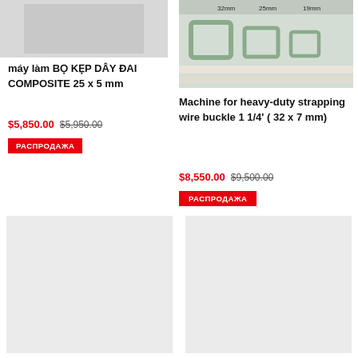[Figure (photo): Product image placeholder - top of left card (partial green machinery visible)]
máy làm BỌ KẸP DÂY ĐAI COMPOSITE 25 x 5 mm
$5,850.00  $5,950.00
РАСПРОДАЖА
[Figure (photo): Product image showing metal wire buckles in sizes 32mm, 25mm, 19mm on a green/wooden background]
Machine for heavy-duty strapping wire buckle 1 1/4' ( 32 x 7 mm)
$8,550.00  $9,500.00
РАСПРОДАЖА
[Figure (photo): Bottom left product image placeholder (light grey box)]
[Figure (photo): Bottom right product image placeholder (light grey box)]